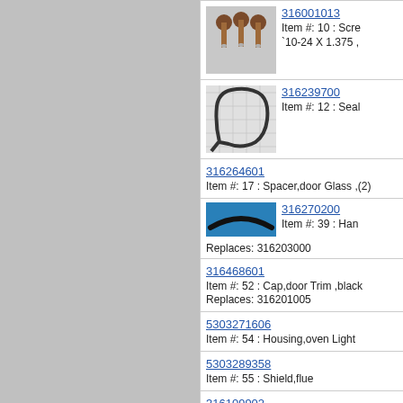[Figure (photo): Three brown screws on gray background]
316001013
Item #: 10 : Screw `10-24 X 1.375 ,
[Figure (photo): Black rubber seal/gasket on grid background]
316239700
Item #: 12 : Seal
316264601
Item #: 17 : Spacer,door Glass ,(2)
[Figure (photo): Black door handle on blue background]
316270200
Item #: 39 : Han
Replaces: 316203000
316468601
Item #: 52 : Cap,door Trim ,black
Replaces: 316201005
5303271606
Item #: 54 : Housing,oven Light
5303289358
Item #: 55 : Shield,flue
316109902
Item #: 73 : Base,low Broil